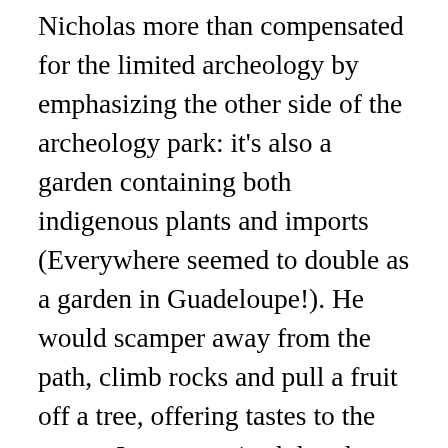Nicholas more than compensated for the limited archeology by emphasizing the other side of the archeology park: it's also a garden containing both indigenous plants and imports (Everywhere seemed to double as a garden in Guadeloupe!). He would scamper away from the path, climb rocks and pull a fruit off a tree, offering tastes to the group. I was surprised that the white substance inside a cacao pod, for example, is quite sweet and tastes a bit like melon, not chocolate. (Later, at the chocolate museum, I learned that chocolate isn't made from the white part; it's made from the hard cacao beans inside.)